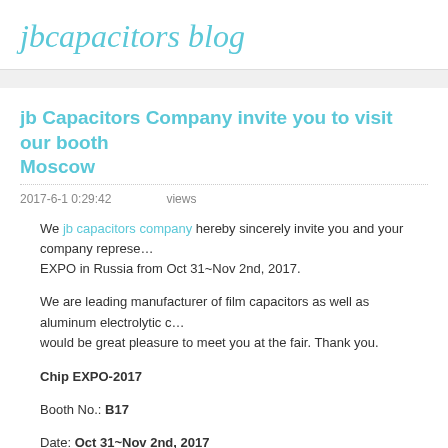jbcapacitors blog
jb Capacitors Company invite you to visit our booth Moscow
2017-6-1 0:29:42    views
We jb capacitors company hereby sincerely invite you and your company representatives to visit Chip EXPO in Russia from Oct 31~Nov 2nd, 2017.
We are leading manufacturer of film capacitors as well as aluminum electrolytic capacitors. It would be great pleasure to meet you at the fair. Thank you.
Chip EXPO-2017
Booth No.: B17
Date: Oct 31~Nov 2nd, 2017
Address: "Expocentre" Moscow Russia